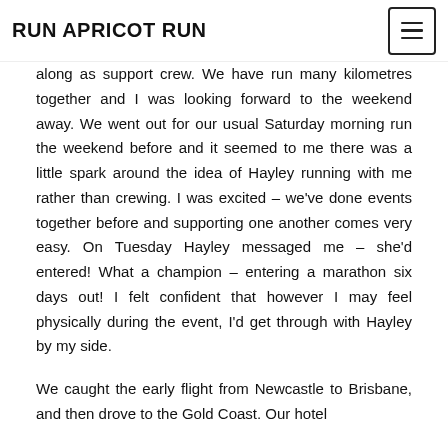RUN APRICOT RUN
along as support crew. We have run many kilometres together and I was looking forward to the weekend away. We went out for our usual Saturday morning run the weekend before and it seemed to me there was a little spark around the idea of Hayley running with me rather than crewing. I was excited – we've done events together before and supporting one another comes very easy. On Tuesday Hayley messaged me – she'd entered! What a champion – entering a marathon six days out! I felt confident that however I may feel physically during the event, I'd get through with Hayley by my side.
We caught the early flight from Newcastle to Brisbane, and then drove to the Gold Coast. Our hotel